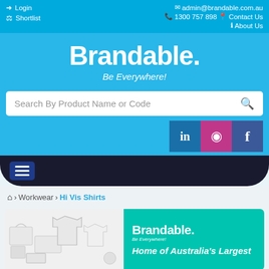Login | Shortlist | admin@brandable.com.au | 1300 757 898 | Contact Us | About Us
Brandable. Be Everywhere!
Search By Product Name or Code
[Figure (screenshot): Social media buttons: LinkedIn, Instagram, Facebook]
[Figure (screenshot): Navigation bar with hamburger menu icon]
Home > Workwear > Hi Vis Shirts
[Figure (illustration): Banner showing Brandable logo with product images (boxes, t-shirt) and text: Home of Australia's Largest]